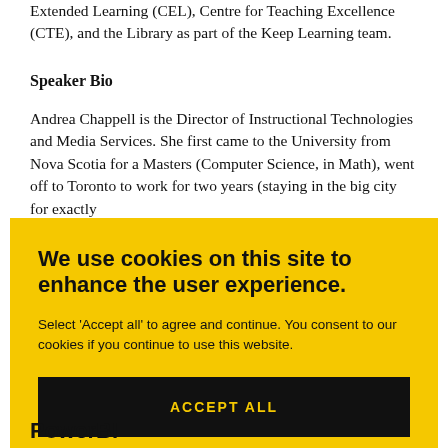Extended Learning (CEL), Centre for Teaching Excellence (CTE), and the Library as part of the Keep Learning team.
Speaker Bio
Andrea Chappell is the Director of Instructional Technologies and Media Services. She first came to the University from Nova Scotia for a Masters (Computer Science, in Math), went off to Toronto to work for two years (staying in the big city for exactly
[Figure (screenshot): Cookie consent overlay with yellow background. Title: 'We use cookies on this site to enhance the user experience.' Body text: 'Select ‘Accept all’ to agree and continue. You consent to our cookies if you continue to use this website.' Button: 'ACCEPT ALL' in yellow text on black background.]
PowerBI